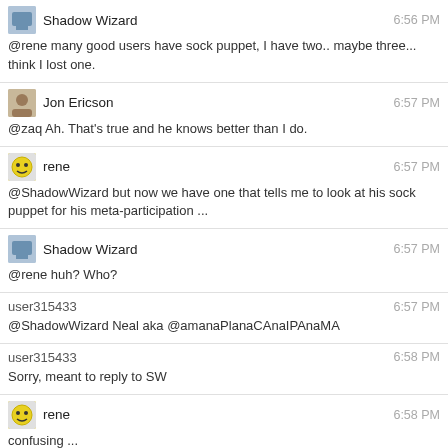Shadow Wizard 6:56 PM
@rene many good users have sock puppet, I have two.. maybe three... think I lost one.
Jon Ericson 6:57 PM
@zaq Ah. That's true and he knows better than I do.
rene 6:57 PM
@ShadowWizard but now we have one that tells me to look at his sock puppet for his meta-participation ...
Shadow Wizard 6:57 PM
@rene huh? Who?
user315433 6:57 PM
@ShadowWizard Neal aka @amanaPlanaCAnaIPAnaMA
user315433 6:58 PM
Sorry, meant to reply to SW
rene 6:58 PM
confusing ...
Shadow Wizard 6:58 PM
@zaq you can still edit
Aaron Hall 6:58 PM
leaN isn't a sock, just a different name.